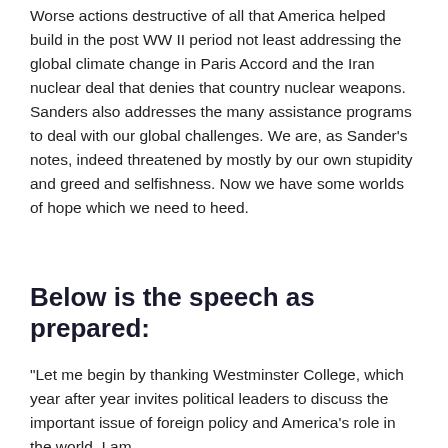Worse actions destructive of all that America helped build in the post WW II period not least addressing the global climate change in Paris Accord and the Iran nuclear deal that denies that country nuclear weapons. Sanders also addresses the many assistance programs to deal with our global challenges. We are, as Sander's notes, indeed threatened by mostly by our own stupidity and greed and selfishness. Now we have some worlds of hope which we need to heed.
Below is the speech as prepared:
“Let me begin by thanking Westminster College, which year after year invites political leaders to discuss the important issue of foreign policy and America’s role in the world. I am